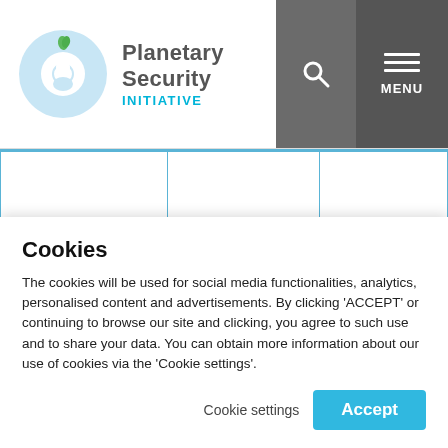Planetary Security INITIATIVE
|  |  |  |
| The Lake Chad Regional Stabilisation | African Union, Lake Chad Basin Commission, | Chad, Cameroon, Niger, Nigeria |
Cookies
The cookies will be used for social media functionalities, analytics, personalised content and advertisements. By clicking 'ACCEPT' or continuing to browse our site and clicking, you agree to such use and to share your data. You can obtain more information about our use of cookies via the 'Cookie settings'.
Cookie settings  Accept